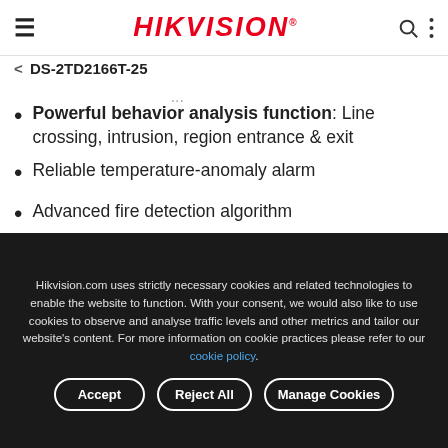HIKVISION
< DS-2TD2166T-25
...gy...p...(cut off partial line)
Powerful behavior analysis function: Line crossing, intrusion, region entrance & exit
Reliable temperature-anomaly alarm
Advanced fire detection algorithm
[Figure (infographic): Row of 6 red-bordered feature icons for the camera product]
Hikvision.com uses strictly necessary cookies and related technologies to enable the website to function. With your consent, we would also like to use cookies to observe and analyse traffic levels and other metrics and tailor our website’s content. For more information on cookie practices please refer to our cookie policy.
Accept   Reject All   Manage Cookies